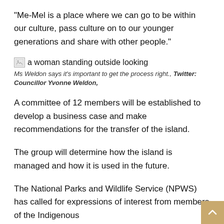“Me-Mel is a place where we can go to be within our culture, pass culture on to our younger generations and share with other people.”
[Figure (photo): A broken image placeholder with alt text: a woman standing outside looking]
Ms Weldon says it’s important to get the process right., Twitter: Councillor Yvonne Weldon,
A committee of 12 members will be established to develop a business case and make recommendations for the transfer of the island.
The group will determine how the island is managed and how it is used in the future.
The National Parks and Wildlife Service (NPWS) has called for expressions of interest from members of the Indigenous